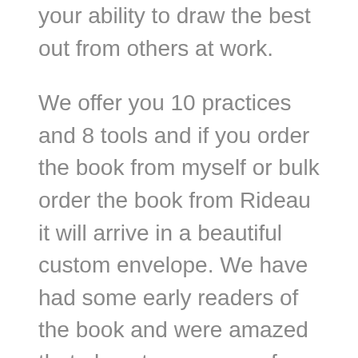your ability to draw the best out from others at work.
We offer you 10 practices and 8 tools and if you order the book from myself or bulk order the book from Rideau it will arrive in a beautiful custom envelope. We have had some early readers of the book and were amazed that almost every one of them upon reading decided to buy a copy for all the leaders and managers where they work.
They loved the size and the price of just $9.95! They also told us the book was more